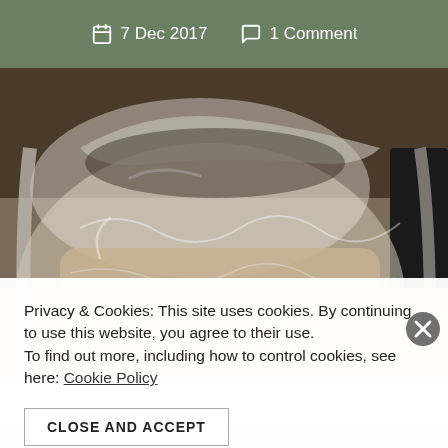7 Dec 2017   1 Comment
[Figure (photo): A large clear plastic bag containing what appears to be a block of dough or bread, sitting on a kitchen counter.]
Privacy & Cookies: This site uses cookies. By continuing to use this website, you agree to their use.
To find out more, including how to control cookies, see here: Cookie Policy
CLOSE AND ACCEPT